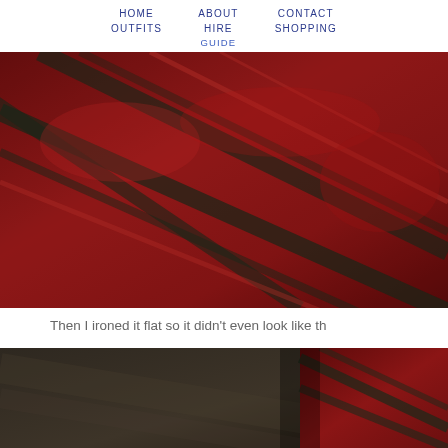HOME   ABOUT   CONTACT
OUTFITS   HIRE   SHOPPING
GUIDE
[Figure (photo): Close-up photo of red and dark green plaid/tartan fabric, gathered or ruffled texture]
Then I ironed it flat so it didn't even look like th
[Figure (photo): Close-up photo of dark brown/charcoal textured fabric with red plaid fabric visible in the lower right corner]